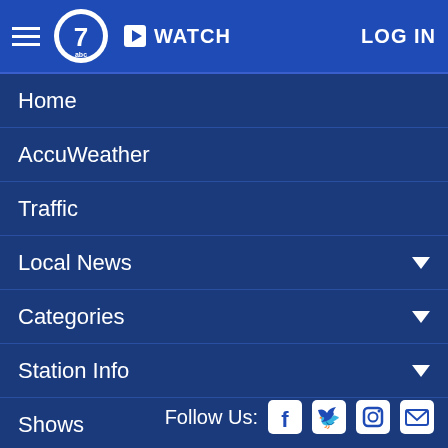ABC7 News - WATCH - LOG IN
Home
AccuWeather
Traffic
Local News
Categories
Station Info
Shows
Apps
[Figure (logo): ABC7 News large logo with abc circle and 7 numeral]
Follow Us: